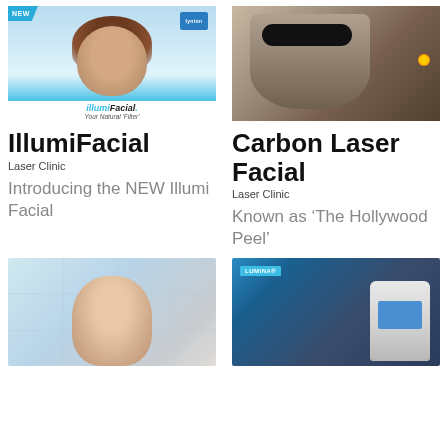[Figure (photo): IllumiFacial product image with woman's face, NEW badge, Lynton logo, blue branding, tagline 'Your Natural Filter']
[Figure (photo): Carbon Laser Facial image showing a person wearing dark goggles with black carbon mask on face, laser light visible]
IllumiFacial
Carbon Laser Facial
Laser Clinic
Laser Clinic
Introducing the NEW Illumi Facial
Known as ‘The Hollywood Peel’
[Figure (photo): Close-up of a woman's face with neutral expression against light blue/grey geometric background]
[Figure (photo): Lumina laser machine on dark blue background with Lumina logo badge and blue label]